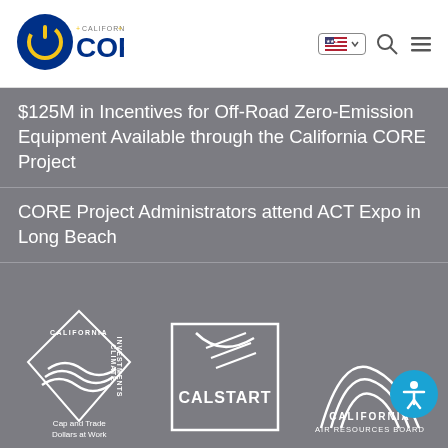[Figure (logo): California CORE logo — circular power button icon with CORE text, gold and blue on white]
[Figure (infographic): Navigation bar with US flag language selector, search icon, and hamburger menu icon]
$125M in Incentives for Off-Road Zero-Emission Equipment Available through the California CORE Project
CORE Project Administrators attend ACT Expo in Long Beach
[Figure (logo): California Climate Investments – Cap and Trade Dollars at Work diamond logo, white on gray]
[Figure (logo): CALSTART logo with road/highway graphic, white on gray]
[Figure (logo): California Air Resources Board logo with arch lines, white on gray]
[Figure (illustration): Accessibility icon button – blue circle with white wheelchair user figure]